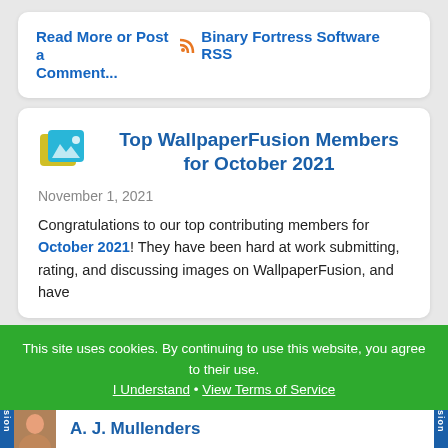Read More or Post a Comment...
Binary Fortress Software RSS
Top WallpaperFusion Members for October 2021
November 1, 2021
Congratulations to our top contributing members for October 2021! They have been hard at work submitting, rating, and discussing images on WallpaperFusion, and have
This site uses cookies. By continuing to use this website, you agree to their use. I Understand • View Terms of Service
A. J. Mullenders